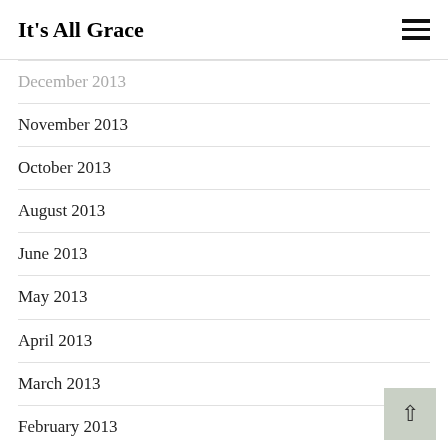It's All Grace
December 2013 (partial, cut off at top)
November 2013
October 2013
August 2013
June 2013
May 2013
April 2013
March 2013
February 2013
January 2013
December 2012 (partial, cut off at bottom)